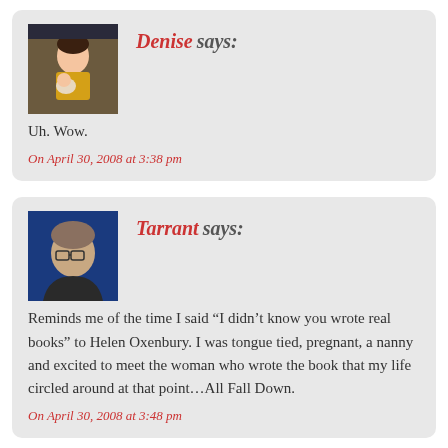[Figure (photo): Avatar photo of Denise: a woman in a yellow shirt holding a baby]
Denise says:
Uh. Wow.
On April 30, 2008 at 3:38 pm
[Figure (photo): Avatar photo of Tarrant: a person with short hair wearing glasses against a blue background]
Tarrant says:
Reminds me of the time I said “I didn’t know you wrote real books” to Helen Oxenbury. I was tongue tied, pregnant, a nanny and excited to meet the woman who wrote the book that my life circled around at that point…All Fall Down.
On April 30, 2008 at 3:48 pm